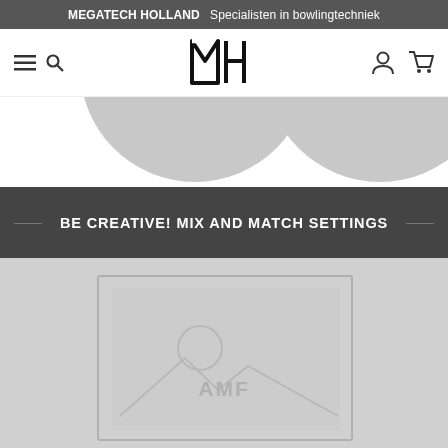MEGATECH HOLLAND   Specialisten in bowlingtechniek
[Figure (screenshot): Navigation bar with hamburger menu, search icon, MH logo, user icon, and cart icon]
[Figure (illustration): Two overlapping gray circles partially visible at top of page]
BE CREATIVE! MIX AND MATCH SETTINGS
[Figure (photo): Product placeholder image with AMF label]